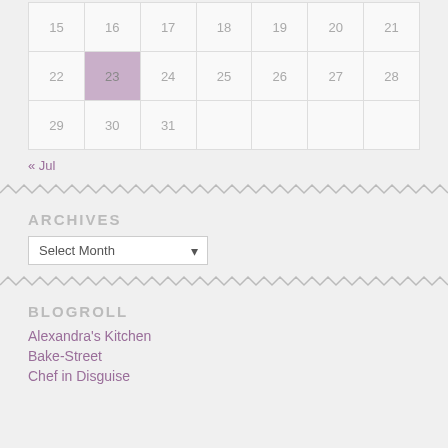| 15 | 16 | 17 | 18 | 19 | 20 | 21 |
| 22 | 23 | 24 | 25 | 26 | 27 | 28 |
| 29 | 30 | 31 |  |  |  |  |
« Jul
ARCHIVES
Select Month
BLOGROLL
Alexandra's Kitchen
Bake-Street
Chef in Disguise